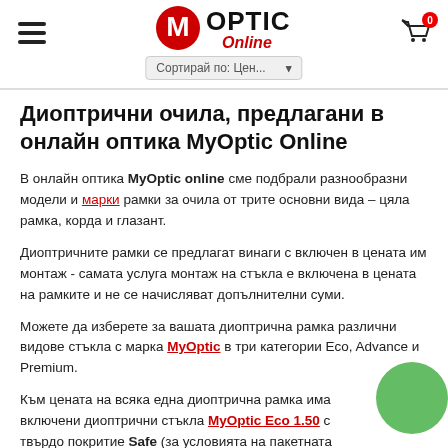MyOptic Online — header with logo, hamburger menu, cart icon, sort bar
Диоптрични очила, предлагани в онлайн оптика MyOptic Online
В онлайн оптика MyOptic online сме подбрали разнообразни модели и марки рамки за очила от трите основни вида – цяла рамка, корда и глазант.
Диоптричните рамки се предлагат винаги с включен в цената им монтаж - самата услуга монтаж на стъкла е включена в цената на рамките и не се начисляват допълнителни суми.
Можете да изберете за вашата диоптрична рамка различни видове стъкла с марка MyOptic в три категории Eco, Advance и Premium.
Към цената на всяка една диоптрична рамка има включени диоптрични стъкла MyOptic Eco 1.50 с твърдо покритие Safe (за условията на пакетната цена рамка със стъкла вижте ТУК).
Изборът на стъкла за очила е разнообразен и голям